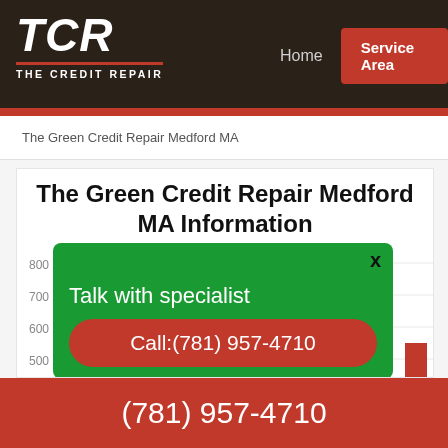[Figure (logo): TCR - The Credit Repair logo in white on dark background with red accent]
Home  Service Area
The Green Credit Repair Medford MA
The Green Credit Repair Medford MA Information
[Figure (other): Green modal popup overlay on a bar chart. Modal contains text 'Talk with specialist' and a button 'Call:(781) 957-4710'. Chart shows y-axis values 800, 700, 600, 500 and a partial red bar on the right.]
(781) 957-4710